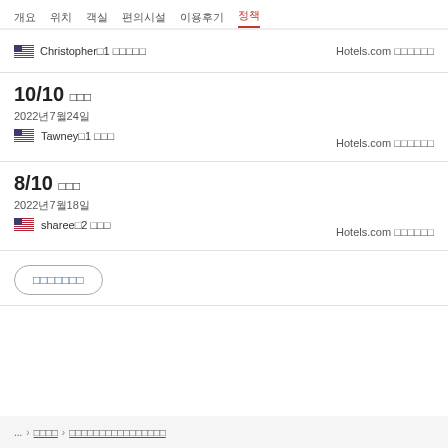개요  위치  객실  편의시설  이용후기  정책
Christopher□1 □□□□□  Hotels.com □□□□□□
10/10 □□□
2022년7월24일
Tawney□1 □□□  Hotels.com □□□□□□
8/10 □□□
2022년7월18일
sharee□2 □□□  Hotels.com □□□□□□
□□□□□□□
... > □□□□ > □□□□□□□□□□□□□□□□